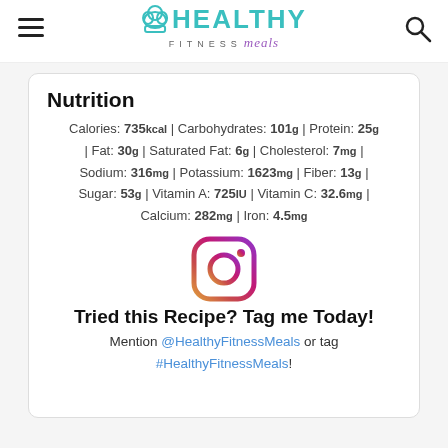[Figure (logo): Healthy Fitness Meals logo with chef hat icon and teal/purple text]
Nutrition
Calories: 735kcal | Carbohydrates: 101g | Protein: 25g | Fat: 30g | Saturated Fat: 6g | Cholesterol: 7mg | Sodium: 316mg | Potassium: 1623mg | Fiber: 13g | Sugar: 53g | Vitamin A: 725IU | Vitamin C: 32.6mg | Calcium: 282mg | Iron: 4.5mg
[Figure (logo): Instagram logo icon in purple/magenta gradient]
Tried this Recipe? Tag me Today!
Mention @HealthyFitnessMeals or tag #HealthyFitnessMeals!